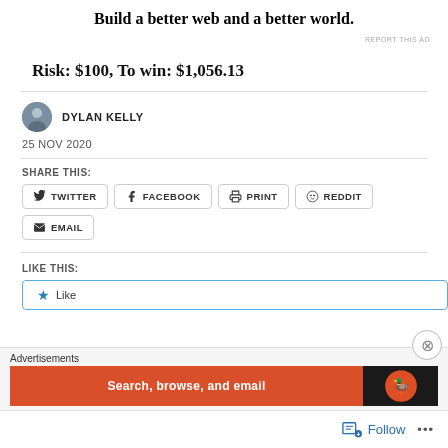Build a better web and a better world.
REPORT THIS AD
Risk: $100, To win: $1,056.13
DYLAN KELLY
25 NOV 2020
SHARE THIS:
TWITTER
FACEBOOK
PRINT
REDDIT
EMAIL
LIKE THIS:
Like
Advertisements
Search, browse, and email
Follow
...